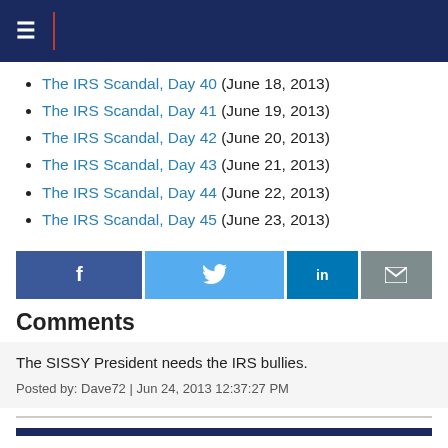Navigation bar
The IRS Scandal, Day 40 (June 18, 2013)
The IRS Scandal, Day 41 (June 19, 2013)
The IRS Scandal, Day 42 (June 20, 2013)
The IRS Scandal, Day 43 (June 21, 2013)
The IRS Scandal, Day 44 (June 22, 2013)
The IRS Scandal, Day 45 (June 23, 2013)
Comments
The SISSY President needs the IRS bullies.
Posted by: Dave72 | Jun 24, 2013 12:37:27 PM